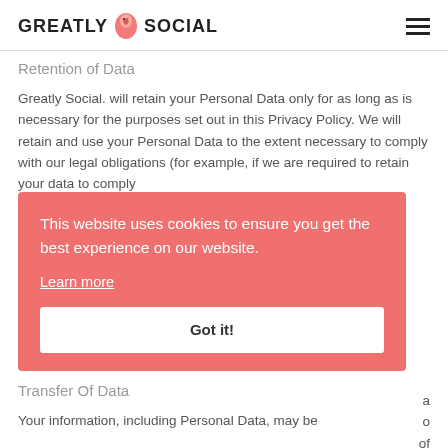GREATLY SOCIAL
Retention of Data
Greatly Social. will retain your Personal Data only for as long as is necessary for the purposes set out in this Privacy Policy. We will retain and use your Personal Data to the extent necessary to comply with our legal obligations (for example, if we are required to retain your data to comply
[Figure (screenshot): Cookie consent overlay with pink/salmon background. Message reads: 'This website uses cookies to ensure you get the best experience on our website.' with a 'Learn more' link and a 'Got it!' button.]
Transfer Of Data
Your information, including Personal Data, may be